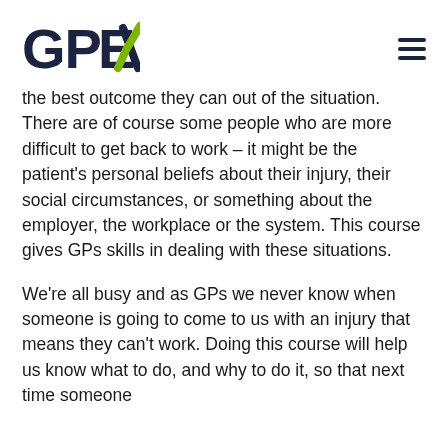GPEx [logo]
the best outcome they can out of the situation. There are of course some people who are more difficult to get back to work – it might be the patient's personal beliefs about their injury, their social circumstances, or something about the employer, the workplace or the system. This course gives GPs skills in dealing with these situations.
We're all busy and as GPs we never know when someone is going to come to us with an injury that means they can't work. Doing this course will help us know what to do, and why to do it, so that next time someone